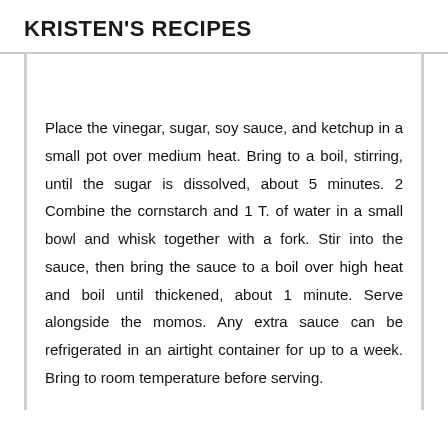KRISTEN'S RECIPES
Place the vinegar, sugar, soy sauce, and ketchup in a small pot over medium heat. Bring to a boil, stirring, until the sugar is dissolved, about 5 minutes. 2 Combine the cornstarch and 1 T. of water in a small bowl and whisk together with a fork. Stir into the sauce, then bring the sauce to a boil over high heat and boil until thickened, about 1 minute. Serve alongside the momos. Any extra sauce can be refrigerated in an airtight container for up to a week. Bring to room temperature before serving.